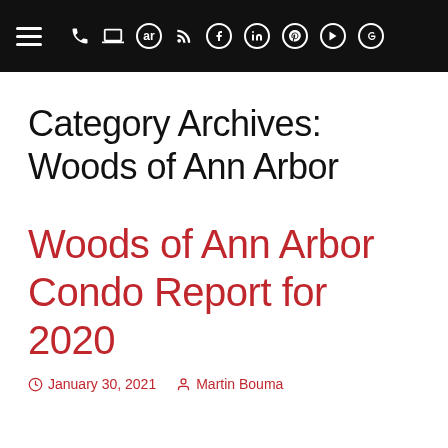Navigation bar with hamburger menu and social/contact icons
Category Archives: Woods of Ann Arbor
Woods of Ann Arbor Condo Report for 2020
January 30, 2021  Martin Bouma